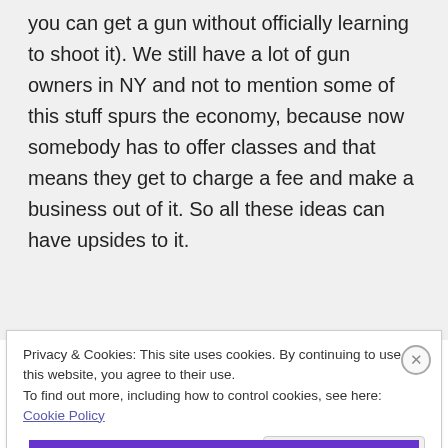you can get a gun without officially learning to shoot it). We still have a lot of gun owners in NY and not to mention some of this stuff spurs the economy, because now somebody has to offer classes and that means they get to charge a fee and make a business out of it. So all these ideas can have upsides to it.
Privacy & Cookies: This site uses cookies. By continuing to use this website, you agree to their use.
To find out more, including how to control cookies, see here: Cookie Policy